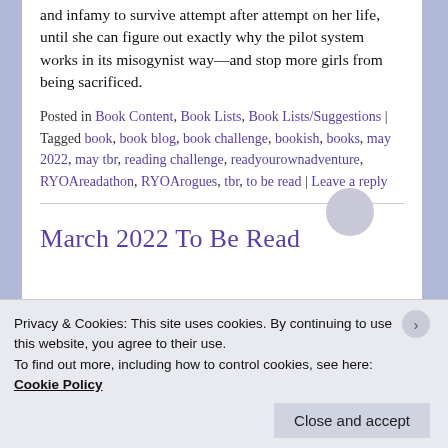and infamy to survive attempt after attempt on her life, until she can figure out exactly why the pilot system works in its misogynist way—and stop more girls from being sacrificed.
Posted in Book Content, Book Lists, Book Lists/Suggestions | Tagged book, book blog, book challenge, bookish, books, may 2022, may tbr, reading challenge, readyourownadventure, RYOAreadathon, RYOArogues, tbr, to be read | Leave a reply
March 2022 To Be Read
Privacy & Cookies: This site uses cookies. By continuing to use this website, you agree to their use.
To find out more, including how to control cookies, see here: Cookie Policy